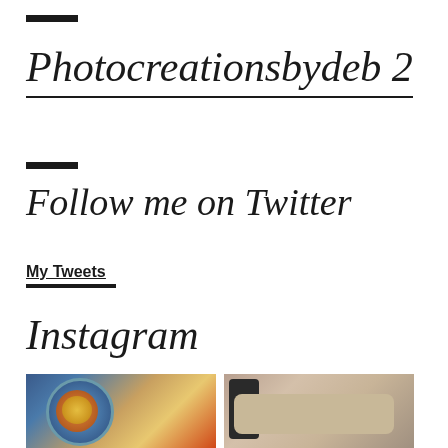Photocreationsbydeb 2
Follow me on Twitter
My Tweets
Instagram
[Figure (photo): Photo of food on a blue plate with toppings]
[Figure (photo): Photo of a cat or animal on a bed or light surface]